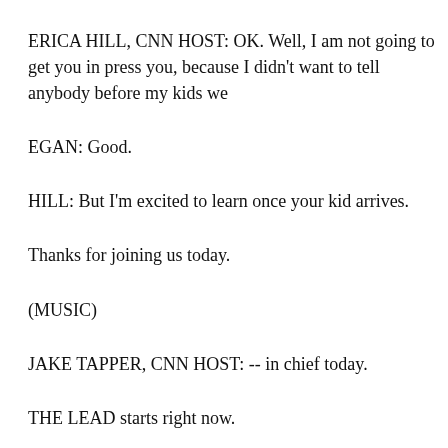ERICA HILL, CNN HOST: OK. Well, I am not going to get you in press you, because I didn't want to tell anybody before my kids we
EGAN: Good.
HILL: But I'm excited to learn once your kid arrives.
Thanks for joining us today.
(MUSIC)
JAKE TAPPER, CNN HOST: -- in chief today.
THE LEAD starts right now.